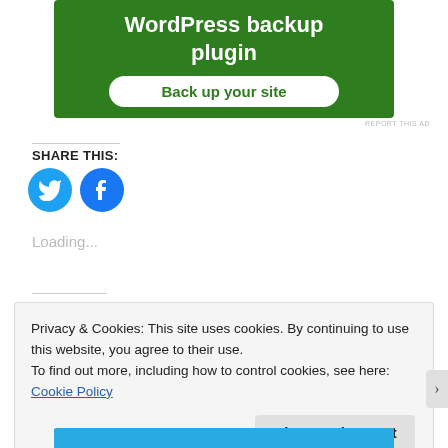[Figure (screenshot): Green advertisement banner for a WordPress backup plugin with 'Back up your site' button]
REPORT THIS AD
SHARE THIS:
[Figure (screenshot): Twitter and Facebook social share icon buttons (blue circles)]
Loading...
Privacy & Cookies: This site uses cookies. By continuing to use this website, you agree to their use.
To find out more, including how to control cookies, see here: Cookie Policy
Close and accept